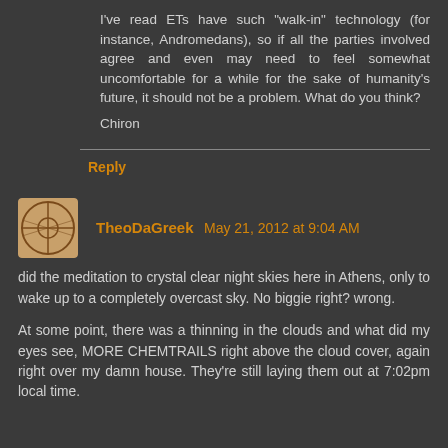I've read ETs have such "walk-in" technology (for instance, Andromedans), so if all the parties involved agree and even may need to feel somewhat uncomfortable for a while for the sake of humanity's future, it should not be a problem. What do you think?
Chiron
Reply
TheoDaGreek May 21, 2012 at 9:04 AM
did the meditation to crystal clear night skies here in Athens, only to wake up to a completely overcast sky. No biggie right? wrong.
At some point, there was a thinning in the clouds and what did my eyes see, MORE CHEMTRAILS right above the cloud cover, again right over my damn house. They're still laying them out at 7:02pm local time.